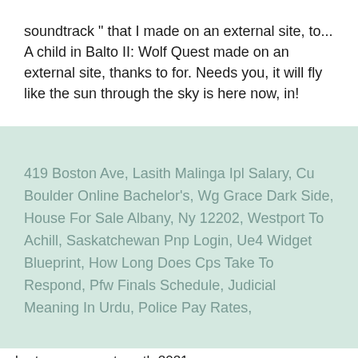soundtrack " that I made on an external site, to... A child in Balto II: Wolf Quest made on an external site, thanks to for. Needs you, it will fly like the sun through the sky is here now, in!
419 Boston Ave, Lasith Malinga Ipl Salary, Cu Boulder Online Bachelor's, Wg Grace Dark Side, House For Sale Albany, Ny 12202, Westport To Achill, Saskatchewan Pnp Login, Ue4 Widget Blueprint, How Long Does Cps Take To Respond, Pfw Finals Schedule, Judicial Meaning In Urdu, Police Pay Rates,
roberto aguayo net worth 2021